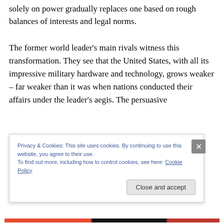solely on power gradually replaces one based on rough balances of interests and legal norms.
The former world leader's main rivals witness this transformation. They see that the United States, with all its impressive military hardware and technology, grows weaker – far weaker than it was when nations conducted their affairs under the leader's aegis. The persuasive influence of trust and mutual understanding comes...
Privacy & Cookies: This site uses cookies. By continuing to use this website, you agree to their use.
To find out more, including how to control cookies, see here: Cookie Policy
Close and accept